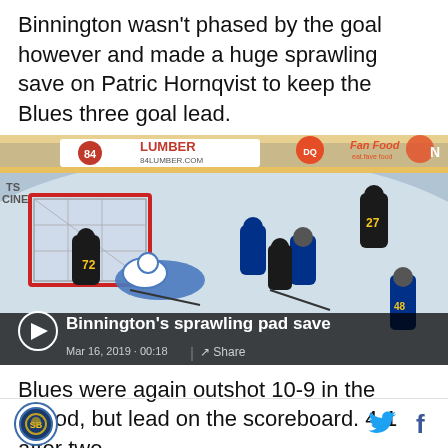Binnington wasn't phased by the goal however and made a huge sprawling save on Patric Hornqvist to keep the Blues three goal lead.
[Figure (screenshot): Video thumbnail of a hockey game scene showing players around the net during a Blues vs Penguins game. Overlay text reads 'Binnington's sprawling pad save'. Video metadata shows Mar 16, 2019 · 00:18 with a Share option.]
Blues were again outshot 10-9 in the period, but lead on the scoreboard. 4-1 after two.
Site logo icon | Twitter share | Facebook share